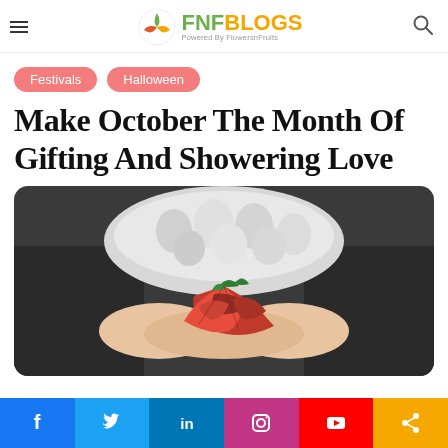FNFBlogs — Powered By FlowersnFruits
Festivals
Halloween
Make October The Month Of Gifting And Showering Love
[Figure (photo): Person in dark jacket and chunky knit white scarf holding red autumn leaves in outstretched hands]
Social share bar: Facebook, Twitter, LinkedIn, Instagram, YouTube, Share